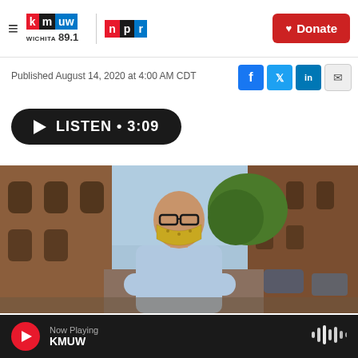KMUW WICHITA 89.1 | NPR — Donate
Published August 14, 2020 at 4:00 AM CDT
[Figure (other): Listen button: play icon, LISTEN • 3:09]
[Figure (photo): Man wearing glasses and a yellow patterned face mask, arms crossed, standing in an alley between brick buildings, with a green tree visible in the background.]
Now Playing KMUW